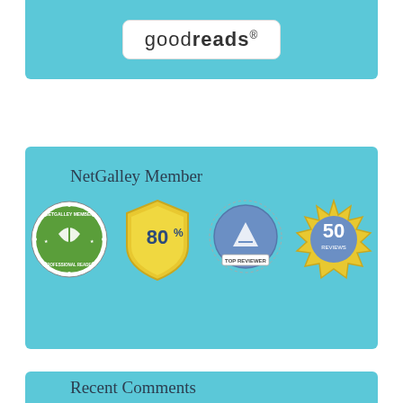[Figure (logo): Goodreads logo in a white rounded rectangle box on a light blue background]
NetGalley Member
[Figure (infographic): Four NetGalley badges: NetGalley Member Professional Reader badge (green circular), 80% feedback badge (gold shield), Top Reviewer badge (blue circular with pen), 50 Reviews badge (gold starburst)]
Recent Comments